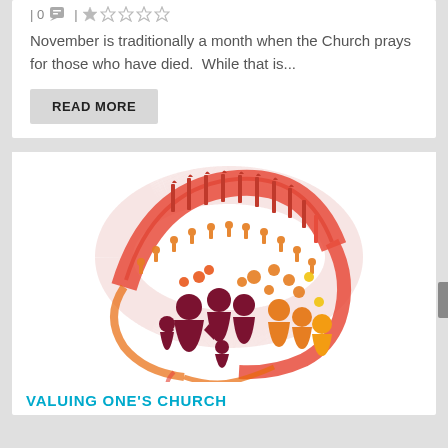| 0 💬 | ★☆☆☆☆
November is traditionally a month when the Church prays for those who have died.  While that is...
READ MORE
[Figure (logo): Colorful illustration of diverse people (stylized figures in dark red/maroon, orange, and yellow) gathered around a bridge/archway structure, forming a circular composition. Figures are silhouette-style, representing a community. Colors range from deep red/maroon at center to bright orange and yellow at edges.]
VALUING ONE'S CHURCH